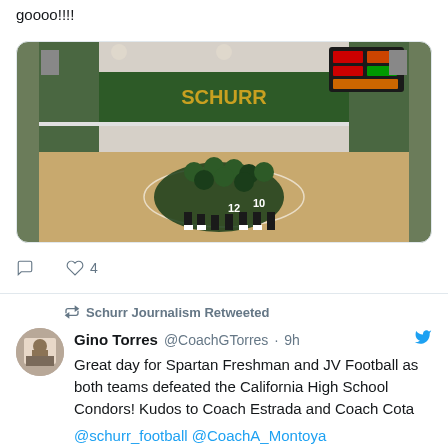goooo!!!!
[Figure (photo): Volleyball team huddling on a gym court, green uniforms, scoreboard visible, 'SCHURR' banner on the wall]
♡ 4
Schurr Journalism Retweeted
Gino Torres @CoachGTorres · 9h
Great day for Spartan Freshman and JV Football as both teams defeated the California High School Condors! Kudos to Coach Estrada and Coach Cota @schurr_football @CoachA_Montoya @coach_arredondo
♡ 6